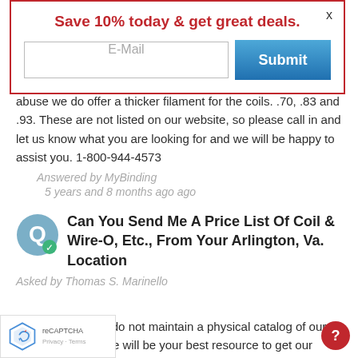Save 10% today & get great deals.
E-Mail
Submit
abuse we do offer a thicker filament for the coils. .70, .83 and .93. These are not listed on our website, so please call in and let us know what you are looking for and we will be happy to assist you. 1-800-944-4573
Answered by MyBinding
5 years and 8 months ago ago
Can You Send Me A Price List Of Coil & Wire-O, Etc., From Your Arlington, Va. Location
Asked by Thomas S. Marinello
Unfortunately, we do not maintain a physical catalog of our goods. Our website will be your best resource to get our current price on products. If you have any